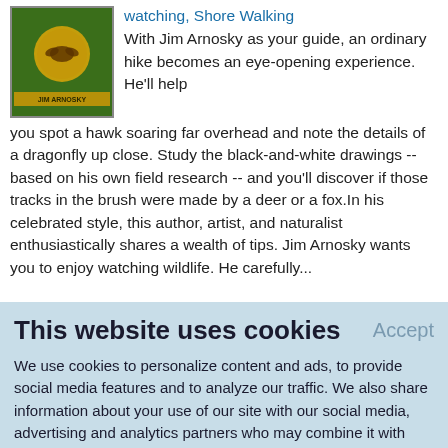watching, Shore Walking
With Jim Arnosky as your guide, an ordinary hike becomes an eye-opening experience. He'll help you spot a hawk soaring far overhead and note the details of a dragonfly up close. Study the black-and-white drawings -- based on his own field research -- and you'll discover if those tracks in the brush were made by a deer or a fox.In his celebrated style, this author, artist, and naturalist enthusiastically shares a wealth of tips. Jim Arnosky wants you to enjoy watching wildlife. He carefully...
This website uses cookies
Accept
We use cookies to personalize content and ads, to provide social media features and to analyze our traffic. We also share information about your use of our site with our social media, advertising and analytics partners who may combine it with other information that you've provided to them or that they've collected from your use of their services.
Learn More.
HOMESCHOOLING: A PATCH...